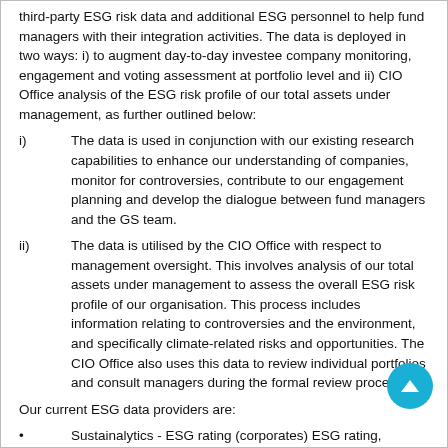third-party ESG risk data and additional ESG personnel to help fund managers with their integration activities. The data is deployed in two ways: i) to augment day-to-day investee company monitoring, engagement and voting assessment at portfolio level and ii) CIO Office analysis of the ESG risk profile of our total assets under management, as further outlined below:
i)   The data is used in conjunction with our existing research capabilities to enhance our understanding of companies, monitor for controversies, contribute to our engagement planning and develop the dialogue between fund managers and the GS team.
ii)   The data is utilised by the CIO Office with respect to management oversight. This involves analysis of our total assets under management to assess the overall ESG risk profile of our organisation. This process includes information relating to controversies and the environment, and specifically climate-related risks and opportunities. The CIO Office also uses this data to review individual portfolios and consult managers during the formal review process.
Our current ESG data providers are:
• Sustainalytics - ESG rating (corporates) ESG rating, (sovereign), carbon risk rating, product involvement screening data (i.e. tobacco, coal).